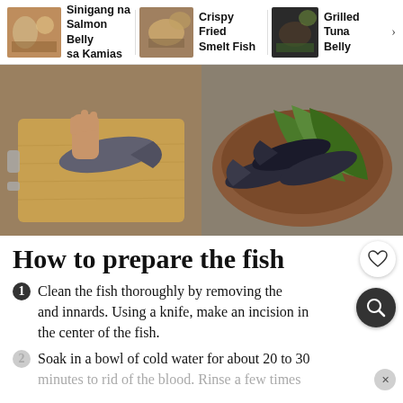Sinigang na Salmon Belly sa Kamias | Crispy Fried Smelt Fish | Grilled Tuna Belly
[Figure (photo): Two food preparation photos side by side: left shows hands preparing a fish on a wooden cutting board; right shows whole fish with green banana leaves on a clay plate.]
How to prepare the fish
1,712
Clean the fish thoroughly by removing the and innards. Using a knife, make an incision in the center of the fish.
Soak in a bowl of cold water for about 20 to 30 minutes to rid of the blood. Rinse a few times